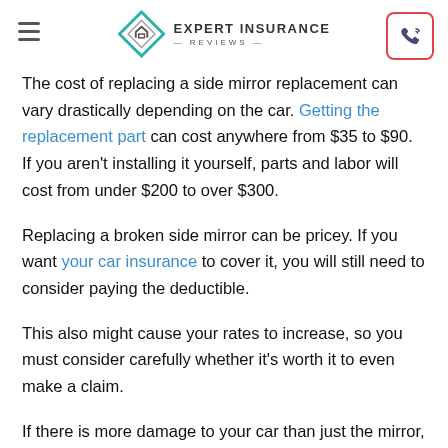Expert Insurance Reviews
The cost of replacing a side mirror replacement can vary drastically depending on the car. Getting the replacement part can cost anywhere from $35 to $90. If you aren't installing it yourself, parts and labor will cost from under $200 to over $300.
Replacing a broken side mirror can be pricey. If you want your car insurance to cover it, you will still need to consider paying the deductible.
This also might cause your rates to increase, so you must consider carefully whether it's worth it to even make a claim.
If there is more damage to your car than just the mirror, then yes, it is likely worth it to make a claim.